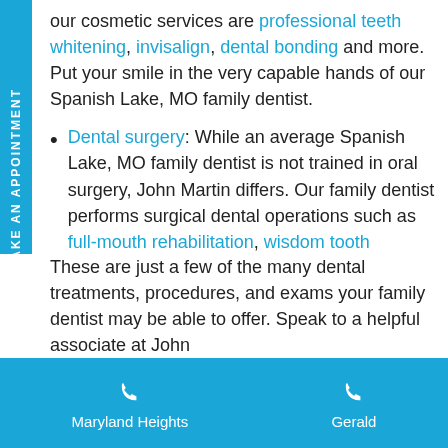our cosmetic services are professional teeth whitening, invisalign, dental bonding and more. Put your smile in the very capable hands of our Spanish Lake, MO family dentist.
Dental surgery: While an average Spanish Lake, MO family dentist is not trained in oral surgery, John Martin differs. Our family dentist performs surgical dental operations such as full-mouth rehabilitation, wisdom tooth extraction, and root canal therapy.
These are just a few of the many dental treatments, procedures, and exams your family dentist may be able to offer. Speak to a helpful associate at John
Maryland Heights | Gerald